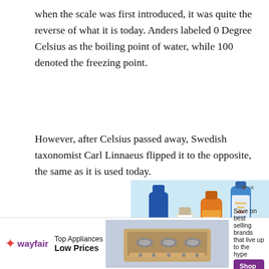when the scale was first introduced, it was quite the reverse of what it is today. Anders labeled 0 Degree Celsius as the boiling point of water, while 100 denoted the freezing point.
However, after Celsius passed away, Swedish taxonomist Carl Linnaeus flipped it to the opposite, the same as it is used today.
[Figure (photo): Advertisement showing sunscreen bottles (Neutrogena Ultra Sheer SPF 55, Hawaiian Tropic Sheer Touch SPF 30, Banana Boat Kids Mineral) on a light blue background, with a semi-transparent video overlay at the bottom reading 'How to Convert From Fahrenheit to C...' and 'No compatible source was found for this media.' A circular blue search button and a grey close button appear on the right edge.]
[Figure (photo): Wayfair banner advertisement showing a range/stove appliance image in the center, with Wayfair logo on left, 'Top Appliances Low Prices' text, and 'Save on best selling brands that live up to the hype' with a purple 'Shop now' button on the right.]